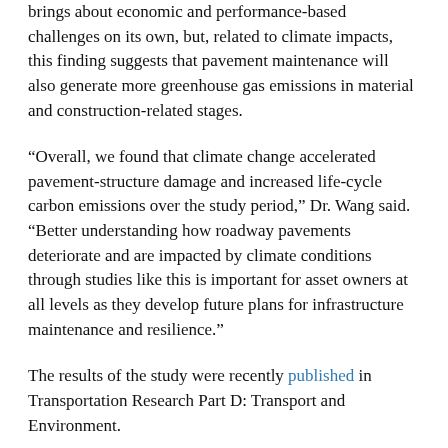brings about economic and performance-based challenges on its own, but, related to climate impacts, this finding suggests that pavement maintenance will also generate more greenhouse gas emissions in material and construction-related stages.
“Overall, we found that climate change accelerated pavement-structure damage and increased life-cycle carbon emissions over the study period,” Dr. Wang said. “Better understanding how roadway pavements deteriorate and are impacted by climate conditions through studies like this is important for asset owners at all levels as they develop future plans for infrastructure maintenance and resilience.”
The results of the study were recently published in Transportation Research Part D: Transport and Environment.
Another finding from the research suggested that due to more frequent maintenance in response to faster deterioration, pavement surfaces may become smoother, he said. This may actually lower the greenhouse gas emissions produced from the vehicles that drive on the